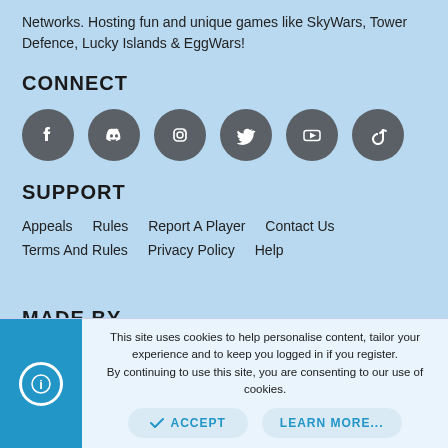Networks. Hosting fun and unique games like SkyWars, Tower Defence, Lucky Islands & EggWars!
CONNECT
[Figure (infographic): Row of 6 social media icon buttons (Facebook, Discord, Instagram, Twitter, YouTube, TikTok) as grey circles with white icons]
SUPPORT
Appeals   Rules   Report A Player   Contact Us
Terms And Rules   Privacy Policy   Help
MADE BY
This site uses cookies to help personalise content, tailor your experience and to keep you logged in if you register.
By continuing to use this site, you are consenting to our use of cookies.
ACCEPT   LEARN MORE...